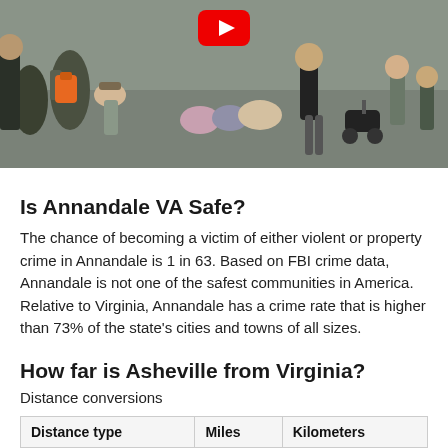[Figure (photo): Outdoor crowd scene with a YouTube play button overlay at the top center. People sitting and standing in a public area, some with backpacks and a stroller visible.]
Is Annandale VA Safe?
The chance of becoming a victim of either violent or property crime in Annandale is 1 in 63. Based on FBI crime data, Annandale is not one of the safest communities in America. Relative to Virginia, Annandale has a crime rate that is higher than 73% of the state's cities and towns of all sizes.
How far is Asheville from Virginia?
Distance conversions
| Distance type | Miles | Kilometers |
| --- | --- | --- |